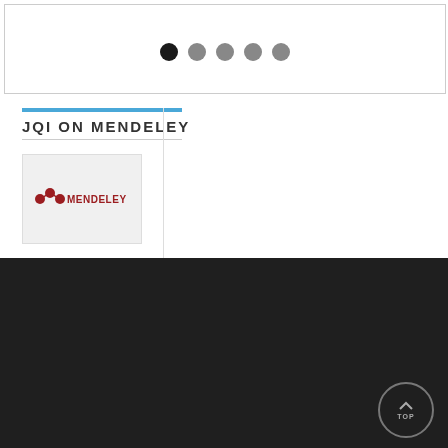[Figure (other): Carousel navigation dots — one black filled dot and four grey filled dots centered in a bordered box]
JQI ON MENDELEY
[Figure (logo): Mendeley logo — red molecule icon followed by MENDELEY text in red, on a light grey background box]
ABOUT JQI
The Joint Quantum Institute is a research partnership between University of Maryland (UMD) and the National Institute of Standards and Technology, with the support and participation of the Laboratory for Physical Sciences.